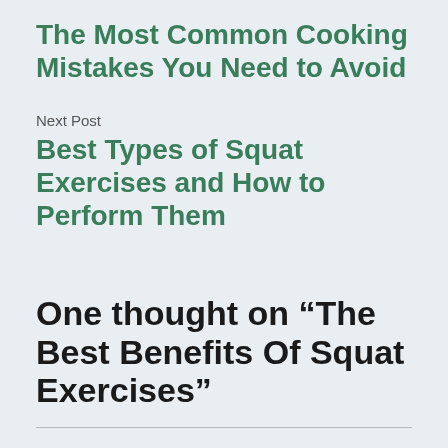The Most Common Cooking Mistakes You Need to Avoid
Next Post
Best Types of Squat Exercises and How to Perform Them
One thought on “The Best Benefits Of Squat Exercises”